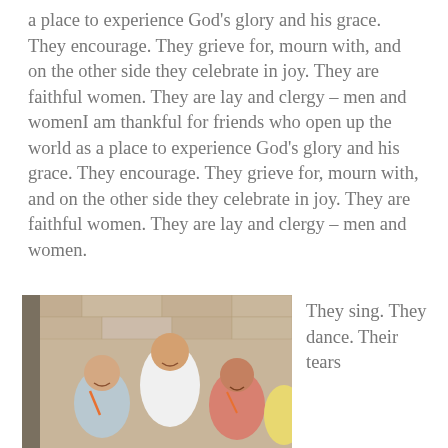a place to experience God's glory and his grace. They encourage. They grieve for, mourn with, and on the other side they celebrate in joy. They are faithful women. They are lay and clergy – men and womenI am thankful for friends who open up the world as a place to experience God's glory and his grace. They encourage. They grieve for, mourn with, and on the other side they celebrate in joy. They are faithful women. They are lay and clergy – men and women.
[Figure (photo): A photograph of three women smiling together, seated near a stone wall. One woman in the center is wearing a white sleeveless top, one on the left has gray hair and glasses, and one on the right is wearing a pink or salmon-colored top. A fourth person in a yellow top is partially visible on the right edge.]
They sing. They dance. Their tears